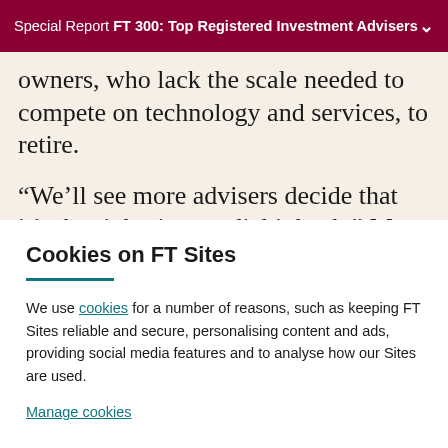Special Report FT 300: Top Registered Investment Advisers
owners, who lack the scale needed to compete on technology and services, to retire.
“We’ll see more advisers decide that it’s the right time to dial it back,” Mr DeVoe says.
Cookies on FT Sites
We use cookies for a number of reasons, such as keeping FT Sites reliable and secure, personalising content and ads, providing social media features and to analyse how our Sites are used.
Manage cookies
Accept & continue